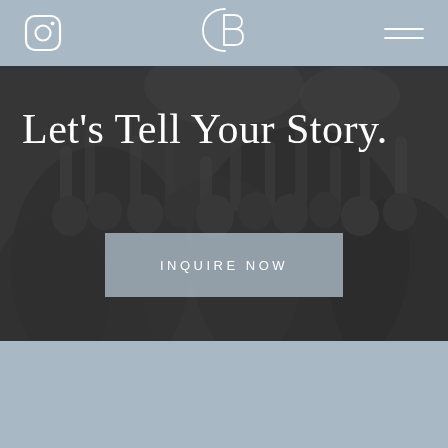Instagram icon | CB logo | Hamburger menu
[Figure (photo): Black and white photo of a crowd of people at what appears to be a wedding celebration, arms raised, people cheering]
Let's Tell Your Story.
INQUIRE NOW